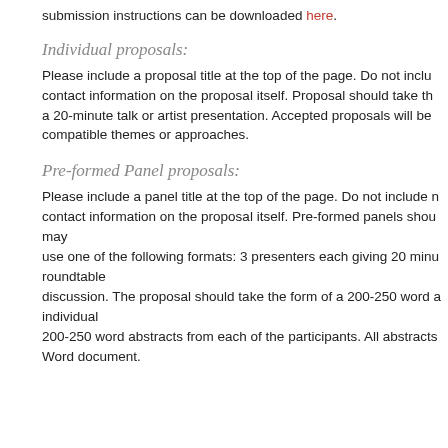submission instructions can be downloaded here.
Individual proposals:
Please include a proposal title at the top of the page. Do not include contact information on the proposal itself. Proposal should take the form of a 20-minute talk or artist presentation. Accepted proposals will be grouped into compatible themes or approaches.
Pre-formed Panel proposals:
Please include a panel title at the top of the page. Do not include name or contact information on the proposal itself. Pre-formed panels should may use one of the following formats: 3 presenters each giving 20 minutes, or a roundtable discussion. The proposal should take the form of a 200-250 word abstract, individual 200-250 word abstracts from each of the participants. All abstracts should be submitted as a Word document.